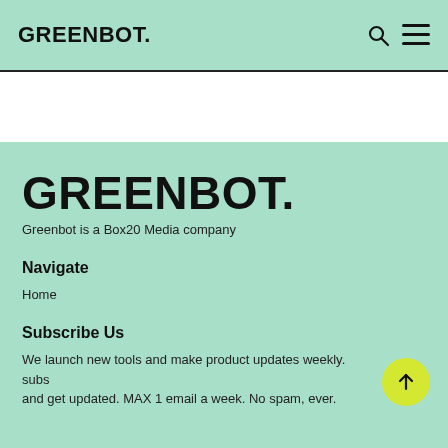GREENBOT.
GREENBOT.
Greenbot is a Box20 Media company
Navigate
Home
Subscribe Us
We launch new tools and make product updates weekly. subs and get updated. MAX 1 email a week. No spam, ever.